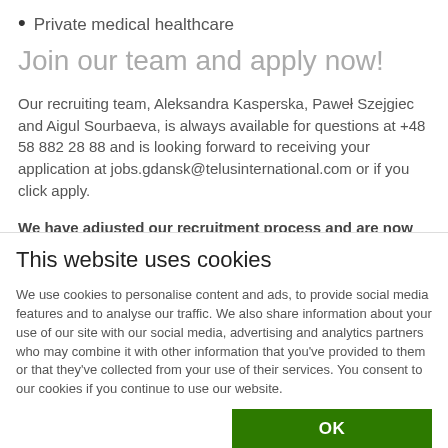Private medical healthcare
Join our team and apply now!
Our recruiting team, Aleksandra Kasperska, Paweł Szejgiec and Aigul Sourbaeva, is always available for questions at +48 58 882 28 88 and is looking forward to receiving your application at jobs.gdansk@telusinternational.com or if you click apply.
We have adjusted our recruitment process and are now offering online interviews to all candidates.
This website uses cookies
We use cookies to personalise content and ads, to provide social media features and to analyse our traffic. We also share information about your use of our site with our social media, advertising and analytics partners who may combine it with other information that you've provided to them or that they've collected from your use of their services. You consent to our cookies if you continue to use our website.
OK
Necessary  Preferences  Statistics  Marketing  Show details